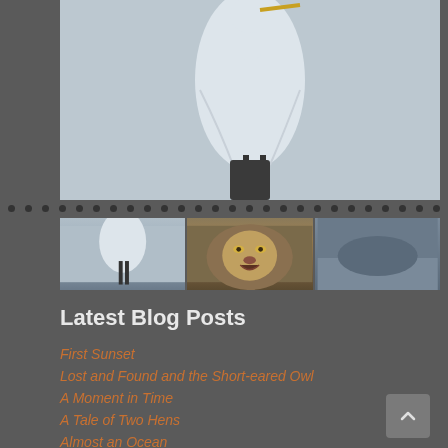[Figure (photo): Collage of wildlife photos: large egret/heron at top, with three smaller thumbnail images below showing egret, lion face, and a dark blurred animal]
Latest Blog Posts
First Sunset
Lost and Found and the Short-eared Owl
A Moment in Time
A Tale of Two Hens
Almost an Ocean
The Call of the Loons
Perceptions of Cruelty
BCAC Exhibit 2019